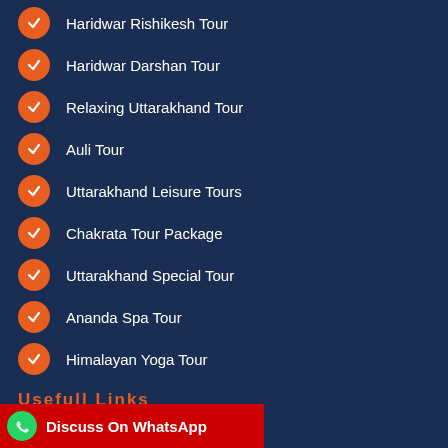Haridwar Rishikesh Tour
Haridwar Darshan Tour
Relaxing Uttarakhand Tour
Auli Tour
Uttarakhand Leisure Tours
Chakrata Tour Package
Uttarakhand Special Tour
Ananda Spa Tour
Himalayan Yoga Tour
Usefull Links
Term and Conditions
Privacy Policy
Discuss On WhatsApp